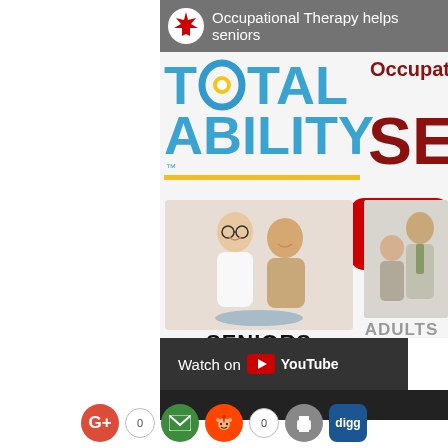[Figure (screenshot): YouTube video thumbnail showing Total Ability occupational therapy for seniors, with video top bar, logo, play button, seniors and adults sections, and Watch on YouTube bar]
[Figure (infographic): Social sharing icons row: Google+, count 0, email, Reddit, count 0, print, Digg]